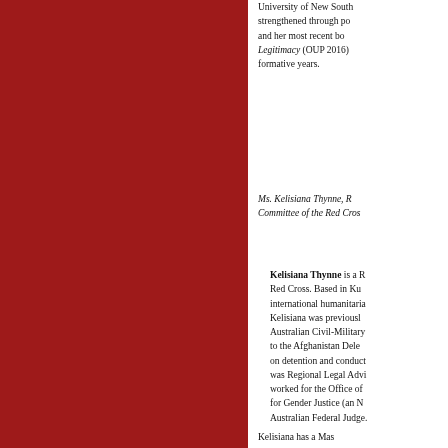University of New South strengthened through po and her most recent bo Legitimacy (OUP 2016) formative years.
Ms. Kelisiana Thynne, R Committee of the Red Cros
Kelisiana Thynne is a R Red Cross. Based in Ku international humanitaria Kelisiana was previousl Australian Civil-Military to the Afghanistan Dele on detention and conduct was Regional Legal Advi worked for the Office of for Gender Justice (an N Australian Federal Judge.
Kelisiana has a Mas